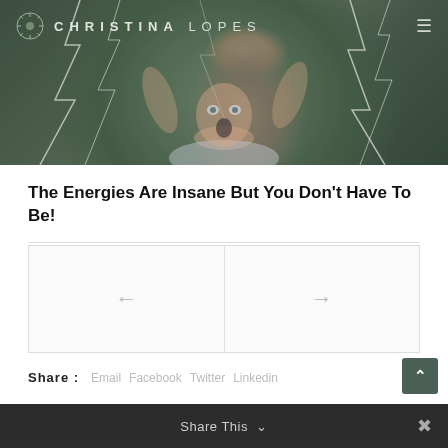[Figure (photo): Hero image of a woman with a shocked/surprised expression, arms raised, with lightning overlay effect and dark green tinted background. Navigation bar overlaid with Christina Lopes branding.]
The Energies Are Insane But You Don't Have To Be!
[Figure (other): Two-panel navigation area with left arrow (previous post) and right arrow (next post), separated by a vertical divider.]
Share: Email Facebook Twitter Linkedin
Share This ∨  ×